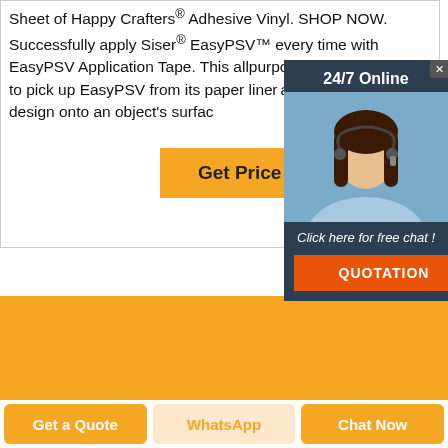Sheet of Happy Crafters® Adhesive Vinyl. SHOP NOW. Successfully apply Siser® EasyPSV™ every time with EasyPSV Application Tape. This allpurpose tape can be used to pick up EasyPSV from its paper liner and transfer the design onto an object's surface
[Figure (other): Orange 'Get Price' button]
[Figure (other): 24/7 online chat widget overlay showing a female agent with headset, header '24/7 Online', text 'Click here for free chat!', and orange QUOTATION button]
[Figure (photo): Orange background section with dark adhesive vinyl product image]
Get a Quote
WhatsApp
Chat Now